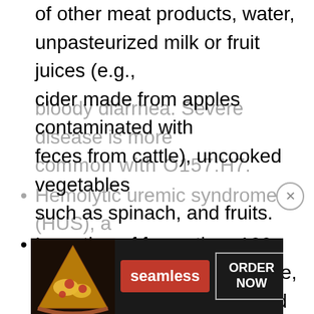of other meat products, water, unpasteurized milk or fruit juices (e.g., cider made from apples contaminated with feces from cattle), uncooked vegetables such as spinach, and fruits.
Ingestion of fewer than 100 bacteria can produce disease, and person-to person spread occurs.
Disease caused by STEC ranges from mild uncomplicated diarrhea to hemorrhagic colitis with severe abdominal pain and bloody diarrhea. Severe disease is more common with O157:H7.
Hemolytic uremic syndrome (HUS), a
[Figure (other): Seamless food delivery advertisement banner with pizza image, red Seamless logo, and ORDER NOW button]